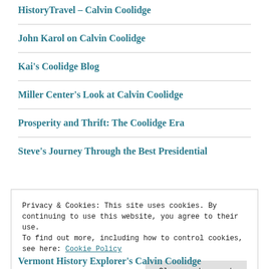HistoryTravel – Calvin Coolidge
John Karol on Calvin Coolidge
Kai's Coolidge Blog
Miller Center's Look at Calvin Coolidge
Prosperity and Thrift: The Coolidge Era
Steve's Journey Through the Best Presidential
Privacy & Cookies: This site uses cookies. By continuing to use this website, you agree to their use.
To find out more, including how to control cookies, see here: Cookie Policy
Close and accept
Vermont History Explorer's Calvin Coolidge